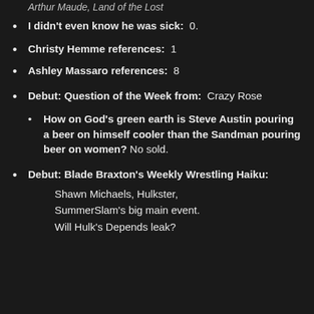Arthur Maude, Land of the Lost
I didn't even know he was sick:  0.
Christy Hemme references:  1
Ashley Massaro references:  8
Debut: Question of the Week from:  Crazy Rose
How on God’s green earth is Steve Austin pouring a beer on himself cooler than the Sandman pouring beer on women? No sold.
Debut: Blade Braxton’s Weekly Wrestling Haiku: Shawn Michaels, Hulkster, SummerSlam’s big main event. Will Hulk’s Depends leak?